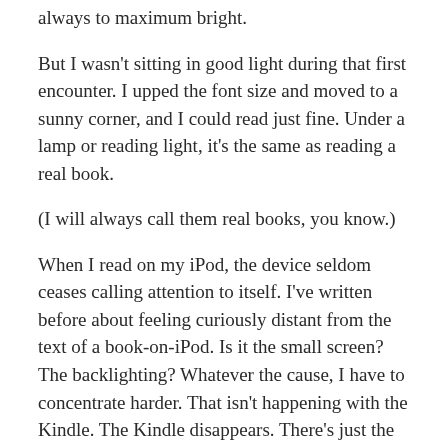always to maximum bright.
But I wasn't sitting in good light during that first encounter. I upped the font size and moved to a sunny corner, and I could read just fine. Under a lamp or reading light, it's the same as reading a real book.
(I will always call them real books, you know.)
When I read on my iPod, the device seldom ceases calling attention to itself. I've written before about feeling curiously distant from the text of a book-on-iPod. Is it the small screen? The backlighting? Whatever the cause, I have to concentrate harder. That isn't happening with the Kindle. The Kindle disappears. There's just the unfolding story. I'd heard people say that, but I was skeptical. It's true. It disappears—until the moment I desire its presence. I really love that note-and-highlight function.